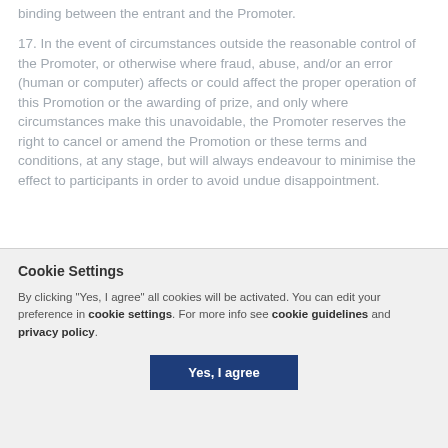binding between the entrant and the Promoter.
17. In the event of circumstances outside the reasonable control of the Promoter, or otherwise where fraud, abuse, and/or an error (human or computer) affects or could affect the proper operation of this Promotion or the awarding of prize, and only where circumstances make this unavoidable, the Promoter reserves the right to cancel or amend the Promotion or these terms and conditions, at any stage, but will always endeavour to minimise the effect to participants in order to avoid undue disappointment.
18. The Promoter reserves the right to verify all entries and the winners and to refuse to award a prize or withdraw prize entitlement and/or refuse further participation in the Promotion and disqualif...
Cookie Settings
By clicking "Yes, I agree" all cookies will be activated. You can edit your preference in cookie settings. For more info see cookie guidelines and privacy policy.